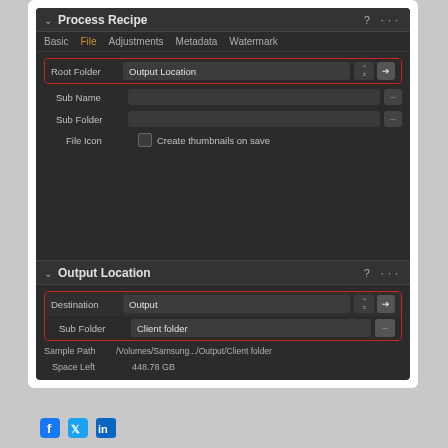[Figure (screenshot): Screenshot of Capture One Process Recipe and Output Location panels. Process Recipe panel shows tabs: Basic, File (active/orange), Adjustments, Metadata, Watermark. Root Folder field set to 'Output Location' with red highlight box. Sub Name and Sub Folder fields empty. File Icon checkbox with 'Create thumbnails on save'. Output Location panel shows Destination set to 'Output' and Sub Folder set to 'Client folder', both within red highlight box. Sample Path shows /Volumes/Samsung.../Output/Client folder. Space Left shows 448.78 GB.]
[Figure (logo): Social media icons: Facebook, Twitter, LinkedIn]